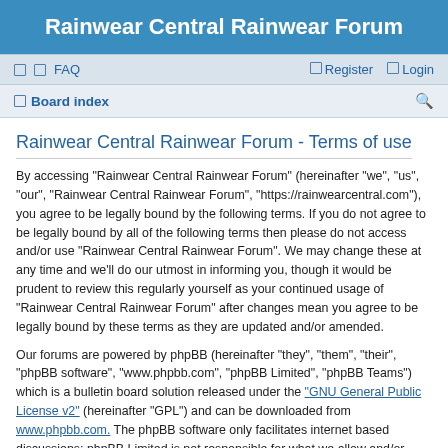Rainwear Central Rainwear Forum
FAQ   Register   Login
Board index
Rainwear Central Rainwear Forum - Terms of use
By accessing “Rainwear Central Rainwear Forum” (hereinafter “we”, “us”, “our”, “Rainwear Central Rainwear Forum”, “https://rainwearcentral.com”), you agree to be legally bound by the following terms. If you do not agree to be legally bound by all of the following terms then please do not access and/or use “Rainwear Central Rainwear Forum”. We may change these at any time and we’ll do our utmost in informing you, though it would be prudent to review this regularly yourself as your continued usage of “Rainwear Central Rainwear Forum” after changes mean you agree to be legally bound by these terms as they are updated and/or amended.
Our forums are powered by phpBB (hereinafter “they”, “them”, “their”, “phpBB software”, “www.phpbb.com”, “phpBB Limited”, “phpBB Teams”) which is a bulletin board solution released under the “GNU General Public License v2” (hereinafter “GPL”) and can be downloaded from www.phpbb.com. The phpBB software only facilitates internet based discussions; phpBB Limited is not responsible for what we allow and/or disallow as permissible content and/or conduct. For further information about phpBB, please see: